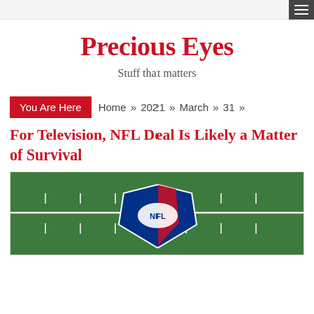Precious Eyes
Stuff that matters
You Are Here   Home » 2021 » March » 31 »
For Television, NFL Deal Is Likely a Matter of Survival
[Figure (photo): Aerial view of a football field showing green turf with white yard lines and a blue and white logo at center field]